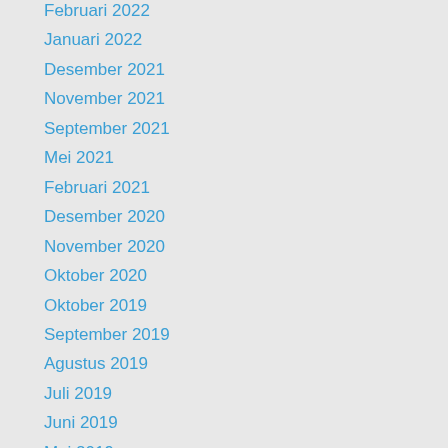Februari 2022
Januari 2022
Desember 2021
November 2021
September 2021
Mei 2021
Februari 2021
Desember 2020
November 2020
Oktober 2020
Oktober 2019
September 2019
Agustus 2019
Juli 2019
Juni 2019
Mei 2019
April 2019
Maret 2019
Februari 2019
Januari 2019
Desember 2018